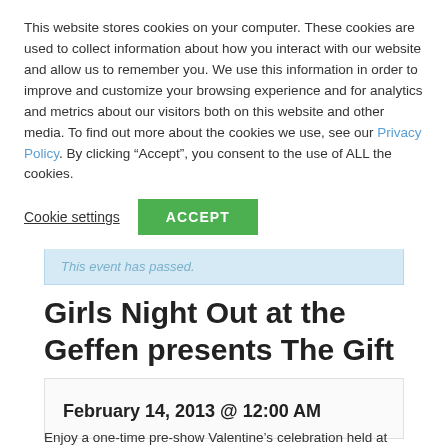This website stores cookies on your computer. These cookies are used to collect information about how you interact with our website and allow us to remember you. We use this information in order to improve and customize your browsing experience and for analytics and metrics about our visitors both on this website and other media. To find out more about the cookies we use, see our Privacy Policy. By clicking “Accept”, you consent to the use of ALL the cookies.
Cookie settings
ACCEPT
This event has passed.
Girls Night Out at the Geffen presents The Gift
February 14, 2013 @ 12:00 AM
Enjoy a one-time pre-show Valentine’s celebration held at